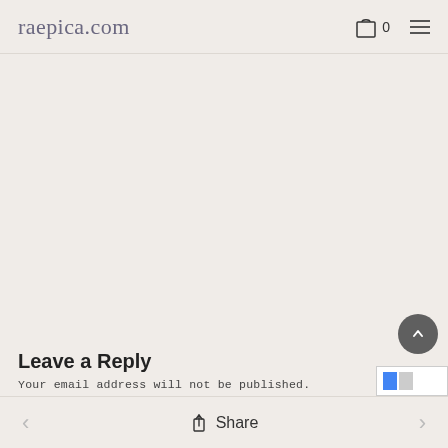raepica.com  🛒 0
Leave a Reply
Your email address will not be published.
< Share >